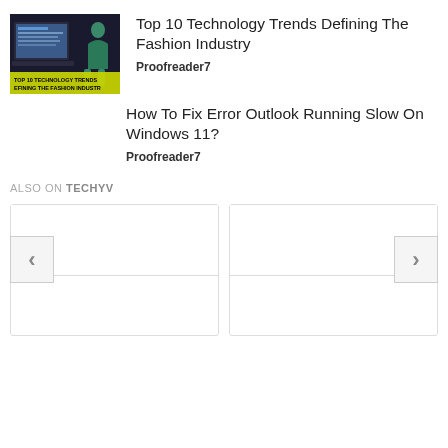[Figure (illustration): Thumbnail image for 'Top 10 Technology Trends Defining The Fashion Industry' showing a laptop and fashion figure with yellow text overlay]
Top 10 Technology Trends Defining The Fashion Industry
Proofreader7
How To Fix Error Outlook Running Slow On Windows 11?
Proofreader7
ALSO ON TECHYV
[Figure (screenshot): Two card placeholders with left and right navigation arrows for 'Also on Techyv' widget]